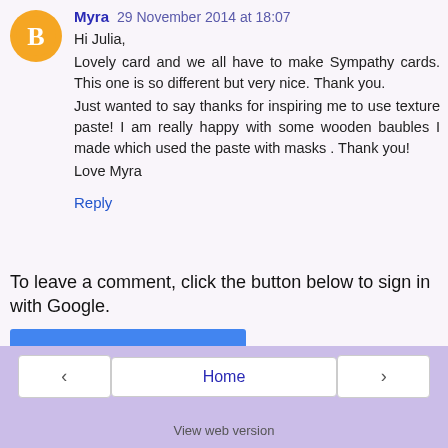Myra 29 November 2014 at 18:07 — Hi Julia, Lovely card and we all have to make Sympathy cards. This one is so different but very nice. Thank you. Just wanted to say thanks for inspiring me to use texture paste! I am really happy with some wooden baubles I made which used the paste with masks . Thank you! Love Myra
Reply
To leave a comment, click the button below to sign in with Google.
[Figure (other): Blue button labeled SIGN IN WITH GOOGLE]
Only positive comments please!
< Home > View web version